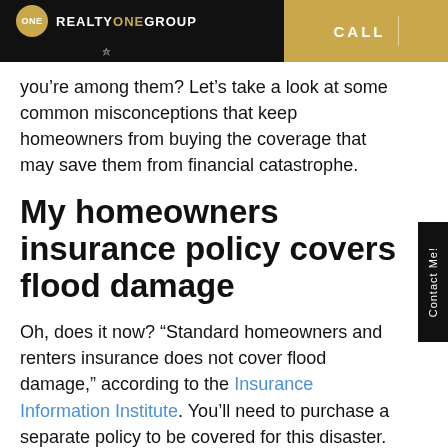ONE REALTYONEGROUP | CALL
you’re among them? Let’s take a look at some common misconceptions that keep homeowners from buying the coverage that may save them from financial catastrophe.
My homeowners insurance policy covers flood damage
Oh, does it now? “Standard homeowners and renters insurance does not cover flood damage,” according to the Insurance Information Institute. You’ll need to purchase a separate policy to be covered for this disaster.